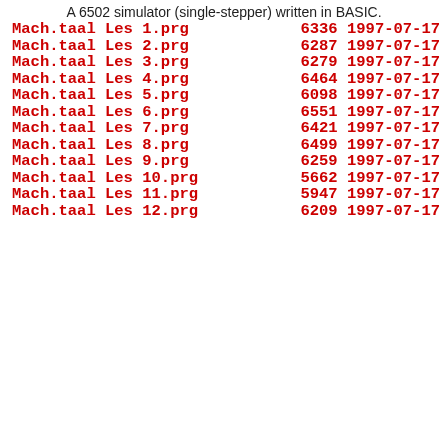A 6502 simulator (single-stepper) written in BASIC.
Mach.taal Les 1.prg    6336 1997-07-17
Mach.taal Les 2.prg    6287 1997-07-17
Mach.taal Les 3.prg    6279 1997-07-17
Mach.taal Les 4.prg    6464 1997-07-17
Mach.taal Les 5.prg    6098 1997-07-17
Mach.taal Les 6.prg    6551 1997-07-17
Mach.taal Les 7.prg    6421 1997-07-17
Mach.taal Les 8.prg    6499 1997-07-17
Mach.taal Les 9.prg    6259 1997-07-17
Mach.taal Les 10.prg   5662 1997-07-17
Mach.taal Les 11.prg   5947 1997-07-17
Mach.taal Les 12.prg   6209 1997-07-17